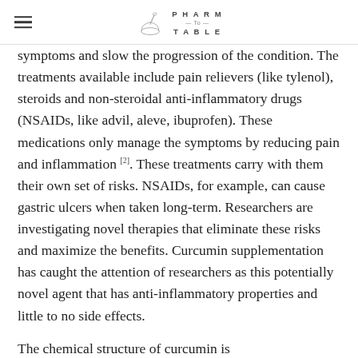PHARM TO TABLE
symptoms and slow the progression of the condition. The treatments available include pain relievers (like tylenol), steroids and non-steroidal anti-inflammatory drugs (NSAIDs, like advil, aleve, ibuprofen). These medications only manage the symptoms by reducing pain and inflammation [2]. These treatments carry with them their own set of risks. NSAIDs, for example, can cause gastric ulcers when taken long-term. Researchers are investigating novel therapies that eliminate these risks and maximize the benefits. Curcumin supplementation has caught the attention of researchers as this potentially novel agent that has anti-inflammatory properties and little to no side effects.
The chemical structure of curcumin is…